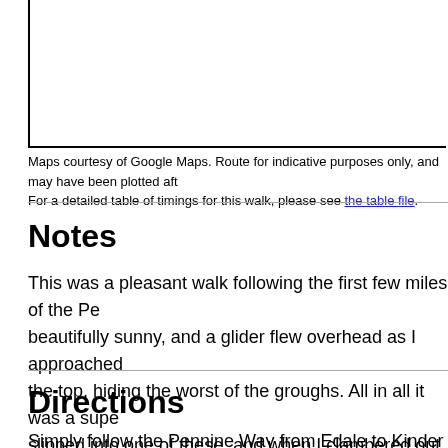[Figure (map): Map area with left and bottom border lines, content cropped/cut off at right edge]
Maps courtesy of Google Maps. Route for indicative purposes only, and may have been plotted aft... For a detailed table of timings for this walk, please see the table file.
Notes
This was a pleasant walk following the first few miles of the Pe... beautifully sunny, and a glider flew overhead as I approached... the top, hiding the worst of the groughs. All in all it was a supe... slipped into one of these, and when I clambered out my gaiter... mild problem could not put a dampener on a wonderful day's w...
Directions
Simply follow the Pennine Way from Edale to Kinder Downfall... you may want to return from Kinder Downfall via Grindsbrook... question the weather was not good enough - the snow was to...
This walk is a nice strenuous hike with a fairly steep climb fro... Route finding is easy as you thin out to follow the first 5-8...